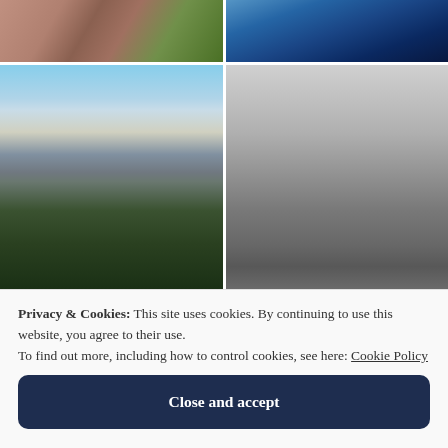[Figure (photo): Close-up macro photo of mushroom gills, brownish-pink tones with green foliage visible]
[Figure (photo): Water droplets on blue glass surface, dark blue background with many circular drops]
[Figure (photo): Aerial view of a city skyline (Montreal) with skyscrapers and green trees in the foreground, cloudy sky]
[Figure (photo): Black and white photo of ornate Victorian street lamp post with foggy Houses of Parliament in background]
Privacy & Cookies: This site uses cookies. By continuing to use this website, you agree to their use.
To find out more, including how to control cookies, see here: Cookie Policy
Close and accept
[Figure (photo): Partial view of sheet music or piano keys, warm tones]
[Figure (photo): Partial view of a statue against blue sky]